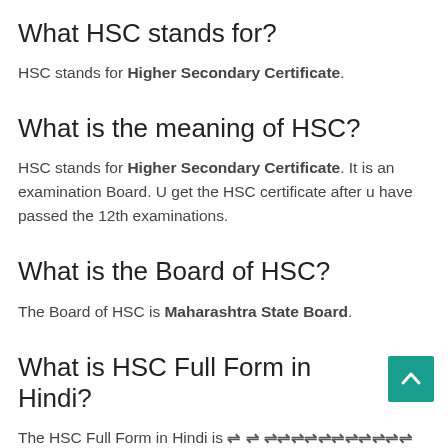What HSC stands for?
HSC stands for Higher Secondary Certificate.
What is the meaning of HSC?
HSC stands for Higher Secondary Certificate. It is an examination Board. U get the HSC certificate after u have passed the 12th examinations.
What is the Board of HSC?
The Board of HSC is Maharashtra State Board.
What is HSC Full Form in Hindi?
The HSC Full Form in Hindi is...